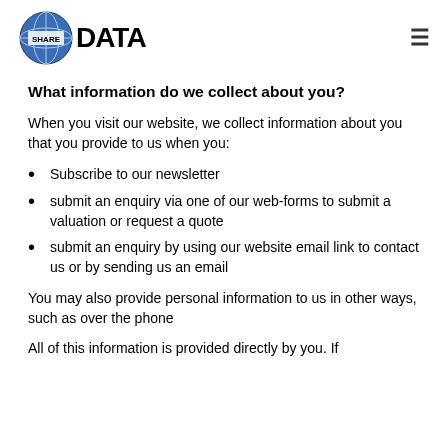SHAREDATA
What information do we collect about you?
When you visit our website, we collect information about you that you provide to us when you:
Subscribe to our newsletter
submit an enquiry via one of our web-forms to submit a valuation or request a quote
submit an enquiry by using our website email link to contact us or by sending us an email
You may also provide personal information to us in other ways, such as over the phone
All of this information is provided directly by you. If